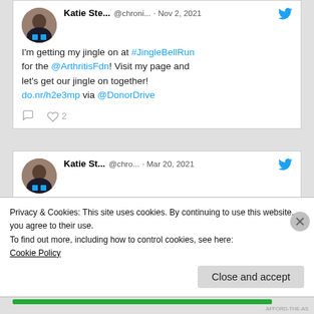[Figure (screenshot): First tweet by Katie Ste... @chroni... · Nov 2, 2021: I'm getting my jingle on at #JingleBellRun for the @ArthritisFdn! Visit my page and let's get our jingle on together! do.nr/h2e3mp via @DonorDrive. Shows 0 replies and 2 likes.]
[Figure (screenshot): Second tweet by Katie St... @chro... · Mar 20, 2021: Got my second Fauci Ouchie today and feeling fine! Thank you @pfizer with raised hands emoji. #vaccinated]
Privacy & Cookies: This site uses cookies. By continuing to use this website, you agree to their use.
To find out more, including how to control cookies, see here: Cookie Policy